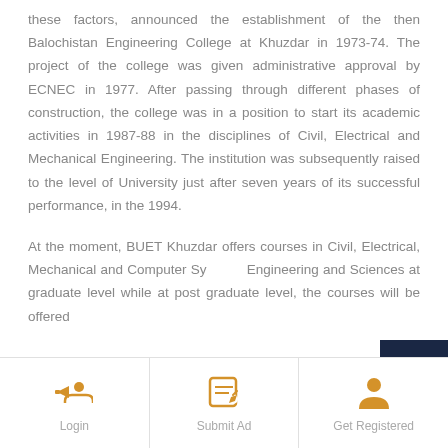these factors, announced the establishment of the then Balochistan Engineering College at Khuzdar in 1973-74. The project of the college was given administrative approval by ECNEC in 1977. After passing through different phases of construction, the college was in a position to start its academic activities in 1987-88 in the disciplines of Civil, Electrical and Mechanical Engineering. The institution was subsequently raised to the level of University just after seven years of its successful performance, in the 1994.
At the moment, BUET Khuzdar offers courses in Civil, Electrical, Mechanical and Computer Systems Engineering and Sciences at graduate level while at post graduate level, the courses will be offered
[Figure (other): Dark navy blue scroll-to-top button with double chevron up arrow icon, overlaid on the right side of the page]
Login | Submit Ad | Get Registered